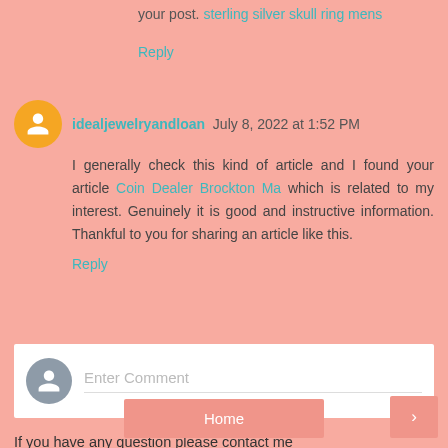your post. sterling silver skull ring mens
Reply
idealjewelryandloan July 8, 2022 at 1:52 PM
I generally check this kind of article and I found your article Coin Dealer Brockton Ma which is related to my interest. Genuinely it is good and instructive information. Thankful to you for sharing an article like this.
Reply
Enter Comment
If you have any question please contact me SmilingSilverSmith@gmail.com
Home
›